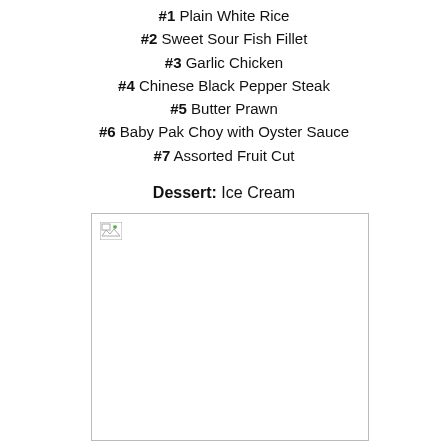#1 Plain White Rice
#2 Sweet Sour Fish Fillet
#3 Garlic Chicken
#4 Chinese Black Pepper Steak
#5 Butter Prawn
#6 Baby Pak Choy with Oyster Sauce
#7 Assorted Fruit Cut
Dessert: Ice Cream
[Figure (photo): Broken/missing image placeholder]